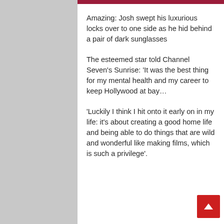Amazing: Josh swept his luxurious locks over to one side as he hid behind a pair of dark sunglasses
The esteemed star told Channel Seven's Sunrise: 'It was the best thing for my mental health and my career to keep Hollywood at bay…
'Luckily I think I hit onto it early on in my life: it's about creating a good home life and being able to do things that are wild and wonderful like making films, which is such a privilege'.